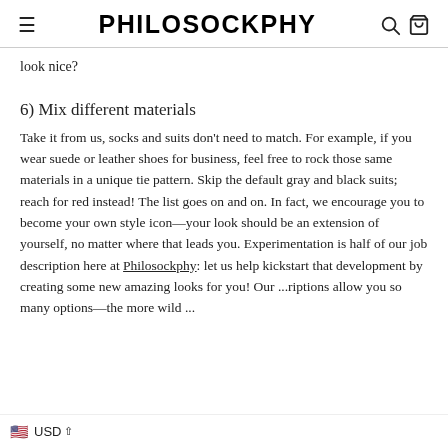PHILOSOCKPHY
look nice?
6) Mix different materials
Take it from us, socks and suits don't need to match. For example, if you wear suede or leather shoes for business, feel free to rock those same materials in a unique tie pattern. Skip the default gray and black suits; reach for red instead! The list goes on and on. In fact, we encourage you to become your own style icon—your look should be an extension of yourself, no matter where that leads you. Experimentation is half of our job description here at Philosockphy: let us help kickstart that development by creating some new amazing looks for you! Our ...riptions allow you so many options—the more wild ...
USD